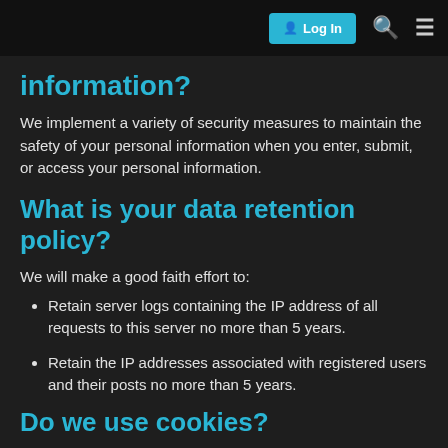Log In
information?
We implement a variety of security measures to maintain the safety of your personal information when you enter, submit, or access your personal information.
What is your data retention policy?
We will make a good faith effort to:
Retain server logs containing the IP address of all requests to this server no more than 5 years.
Retain the IP addresses associated with registered users and their posts no more than 5 years.
Do we use cookies?
Yes. Cookies are small files that a site or its service provider transfers to your computer's hard drive through your Web